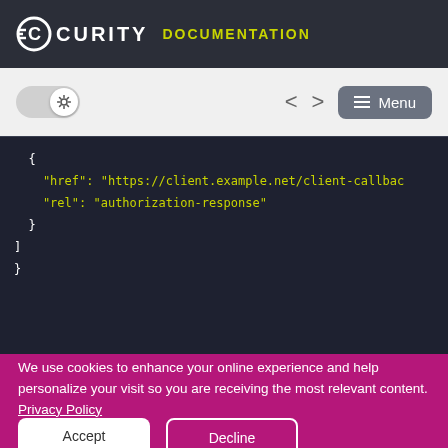CURITY DOCUMENTATION
[Figure (screenshot): Toolbar with dark/light mode toggle switch, navigation arrows, and Menu button]
{
    "href": "https://client.example.net/client-callback"
    "rel": "authorization-response"
  }
]
}
We use cookies to enhance your online experience and help personalize your visit so you are receiving the most relevant content. Privacy Policy
Accept   Decline